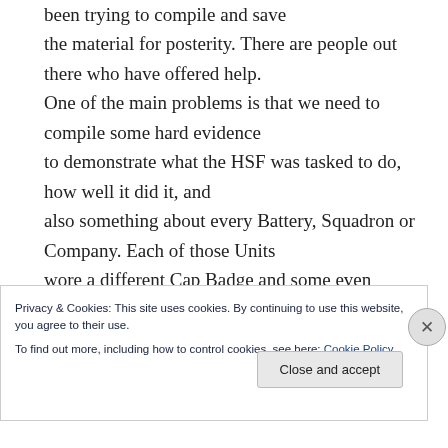been trying to compile and save the material for posterity. There are people out there who have offered help. One of the main problems is that we need to compile some hard evidence to demonstrate what the HSF was tasked to do, how well it did it, and also something about every Battery, Squadron or Company. Each of those Units wore a different Cap Badge and some even changed their Cap Badge during their HSF
Privacy & Cookies: This site uses cookies. By continuing to use this website, you agree to their use. To find out more, including how to control cookies, see here: Cookie Policy